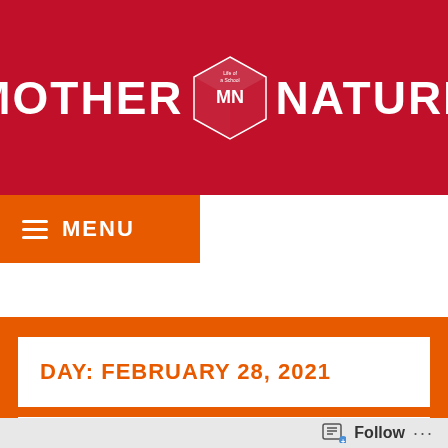[Figure (logo): Mother Nature blog logo - red background with white bold text MOTHER and NATURE flanking a 3D cube icon with MN letters]
MENU
[Figure (infographic): Social media icons row: email, Instagram, Facebook, Twitter, YouTube, Pinterest, LinkedIn, Tumblr]
DAY: FEBRUARY 28, 2021
MONTHLY